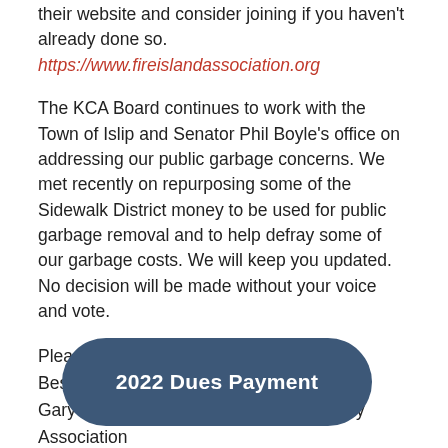their website and consider joining if you haven't already done so.  https://www.fireislandassociation.org
The KCA Board continues to work with the Town of Islip and Senator Phil Boyle's office on addressing our public garbage concerns. We met recently on repurposing some of the Sidewalk District money to be used for public garbage removal and to help defray some of our garbage costs. We will keep you updated.  No decision will be made without your voice and vote.
Please stay safe and healthy.
Best regards,
Gary Leone, President Kismet Community Association
[Figure (other): Dark blue oval button labeled '2022 Dues Payment' in white bold text]